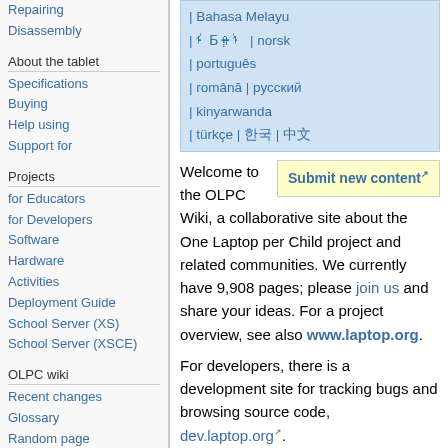Repairing
Disassembly
About the tablet
Specifications
Buying
Help using
Support for
Projects
for Educators
for Developers
Software
Hardware
Activities
Deployment Guide
School Server (XS)
School Server (XSCE)
OLPC wiki
Recent changes
Glossary
Random page
Help using the wiki
[Figure (other): Language selection box with links: Bahasa Melayu, qqqqq, norsk, português, română, русский, kinyarwanda, türkçe, qq, qqqq]
Welcome to the OLPC Wiki, a collaborative site about the One Laptop per Child project and related communities. We currently have 9,908 pages; please join us and share your ideas. For a project overview, see also www.laptop.org.
For developers, there is a development site for tracking bugs and browsing source code, dev.laptop.org.
For XO users, we have an online Getting Started Guide; for more detailed help with your XO, please visit our XO Help